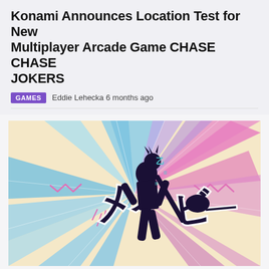Konami Announces Location Test for New Multiplayer Arcade Game CHASE CHASE JOKERS
GAMES   Eddie Lehecka 6 months ago
[Figure (illustration): Colorful retro-inspired animated scene with a dark silhouetted character holding a guitar, surrounded by Japanese kanji characters and radiating beams of light blue, pink, and lavender on a warm cream/beige background. Pink wavy lightning bolt lines on either side.]
Kyary Pamyu Pamyu Celebrates Valentine's Day With a Retro-Inspired Animated Video